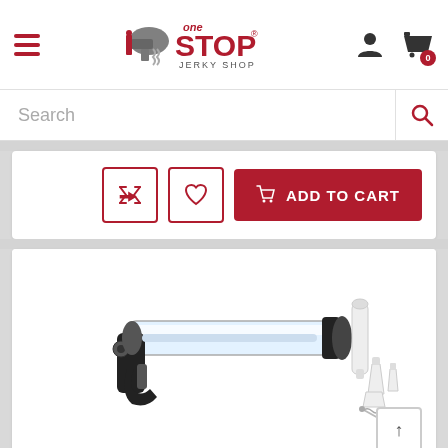[Figure (screenshot): One Stop Jerky Shop website header with hamburger menu, logo, user icon, and shopping cart with 0 items badge]
[Figure (screenshot): Search bar with placeholder text 'Search' and a red search magnifying glass icon]
[Figure (screenshot): Action bar with shuffle icon button, heart/wishlist icon button, and red ADD TO CART button with cart icon]
[Figure (photo): Product image of a jerky gun / jerky shooter tool with clear barrel, black handle trigger mechanism, and white plastic nozzle attachments and cleaning rod accessories on a white background]